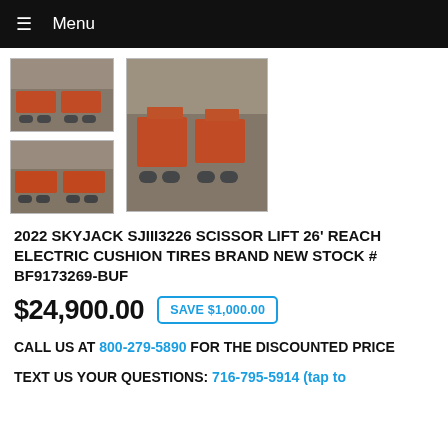Menu
[Figure (photo): Three photos of orange scissor lift machines (2022 Skyjack SJIII3226) in a warehouse setting. Two smaller thumbnails on the left and one larger image on the right.]
2022 SKYJACK SJIII3226 SCISSOR LIFT 26' REACH ELECTRIC CUSHION TIRES BRAND NEW STOCK # BF9173269-BUF
$24,900.00  SAVE $1,000.00
CALL US AT 800-279-5890 FOR THE DISCOUNTED PRICE
TEXT US YOUR QUESTIONS: 716-795-5914 (tap to